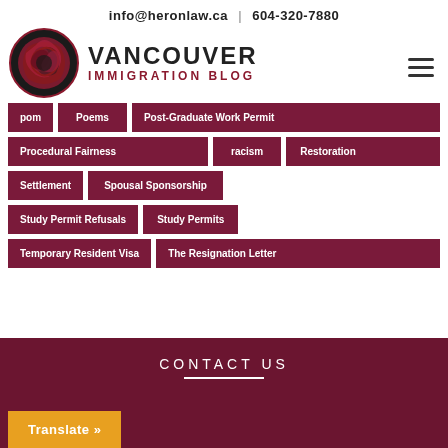info@heronlaw.ca  |  604-320-7880
[Figure (logo): Vancouver Immigration Blog logo with two stylized herons forming a circular design, in red and black]
VANCOUVER IMMIGRATION BLOG
pom
Poems
Post-Graduate Work Permit
Procedural Fairness
racism
Restoration
Settlement
Spousal Sponsorship
Study Permit Refusals
Study Permits
Temporary Resident Visa
The Resignation Letter
CONTACT US
Translate »